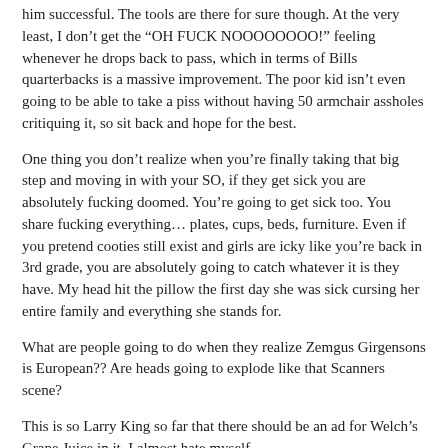him successful. The tools are there for sure though. At the very least, I don't get the “OH FUCK NOOOOOOOO!” feeling whenever he drops back to pass, which in terms of Bills quarterbacks is a massive improvement. The poor kid isn't even going to be able to take a piss without having 50 armchair assholes critiquing it, so sit back and hope for the best.
One thing you don’t realize when you’re finally taking that big step and moving in with your SO, if they get sick you are absolutely fucking doomed. You’re going to get sick too. You share fucking everything… plates, cups, beds, furniture. Even if you pretend cooties still exist and girls are icky like you’re back in 3rd grade, you are absolutely going to catch whatever it is they have. My head hit the pillow the first day she was sick cursing her entire family and everything she stands for.
What are people going to do when they realize Zemgus Girgensons is European?? Are heads going to explode like that Scanners scene?
This is so Larry King so far that there should be an ad for Welch’s Grape Juice in it. I almost hate myself.